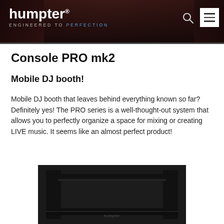humpter — ENGINEERED TO PERFECTION
Console PRO mk2
Mobile DJ booth!
Mobile DJ booth that leaves behind everything known so far? Definitely yes! The PRO series is a well-thought-out system that allows you to perfectly organize a space for mixing or creating LIVE music. It seems like an almost perfect product!
[Figure (photo): Black Humpter Console PRO mk2 mobile DJ booth hardware, viewed from above/front, showing the dark desk surface with the humpter logo on the front panel. The unit has raised side wings and a flat central surface.]